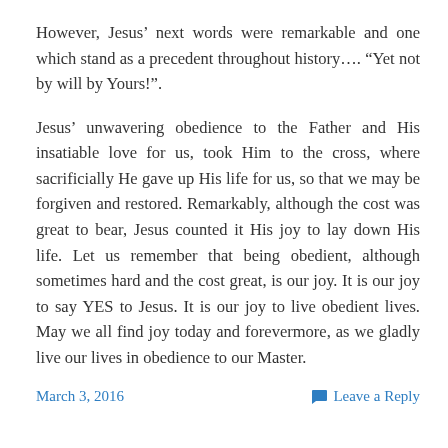However, Jesus’ next words were remarkable and one which stand as a precedent throughout history…. “Yet not by will by Yours!”.
Jesus’ unwavering obedience to the Father and His insatiable love for us, took Him to the cross, where sacrificially He gave up His life for us, so that we may be forgiven and restored. Remarkably, although the cost was great to bear, Jesus counted it His joy to lay down His life. Let us remember that being obedient, although sometimes hard and the cost great, is our joy. It is our joy to say YES to Jesus. It is our joy to live obedient lives. May we all find joy today and forevermore, as we gladly live our lives in obedience to our Master.
March 3, 2016   Leave a Reply